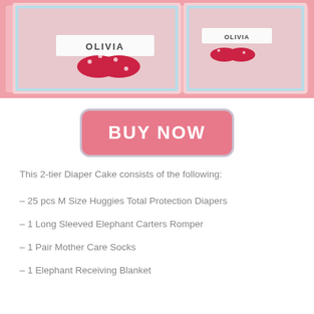[Figure (photo): Product photo of a 2-tier diaper cake with pink decorations and 'OLIVIA' text, shown from two angles side by side on a pink patterned background]
[Figure (other): Pink 'BUY NOW' button with rounded corners and light border]
This 2-tier Diaper Cake consists of the following:
– 25 pcs M Size Huggies Total Protection Diapers
– 1 Long Sleeved Elephant Carters Romper
– 1 Pair Mother Care Socks
– 1 Elephant Receiving Blanket